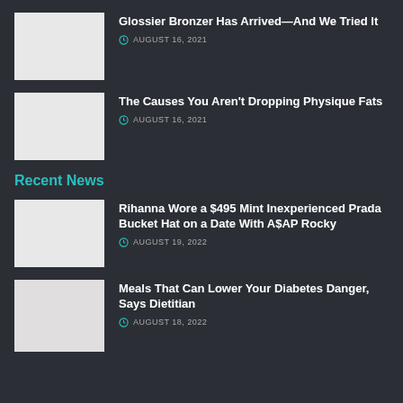Glossier Bronzer Has Arrived—And We Tried It
AUGUST 16, 2021
The Causes You Aren't Dropping Physique Fats
AUGUST 16, 2021
Recent News
Rihanna Wore a $495 Mint Inexperienced Prada Bucket Hat on a Date With A$AP Rocky
AUGUST 19, 2022
Meals That Can Lower Your Diabetes Danger, Says Dietitian
AUGUST 18, 2022